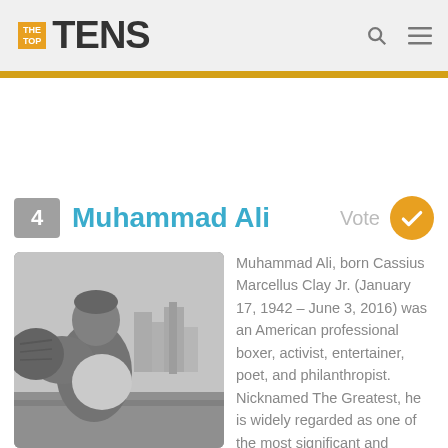THE TOP TENS
4 Muhammad Ali
[Figure (photo): Black and white photo of Muhammad Ali in a boxing pose, thrusting his fist toward the camera, with a city skyline in the background.]
Muhammad Ali, born Cassius Marcellus Clay Jr. (January 17, 1942 – June 3, 2016) was an American professional boxer, activist, entertainer, poet, and philanthropist. Nicknamed The Greatest, he is widely regarded as one of the most significant and celebrated sporting figures of the 20th